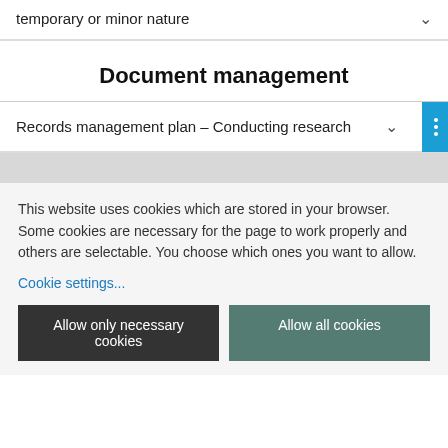temporary or minor nature
Document management
Records management plan – Conducting research
This website uses cookies which are stored in your browser. Some cookies are necessary for the page to work properly and others are selectable. You choose which ones you want to allow.
Cookie settings...
Allow only necessary cookies
Allow all cookies